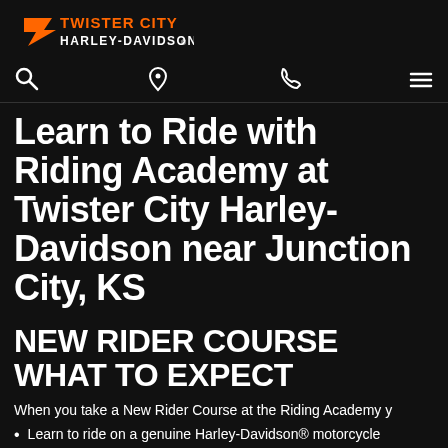[Figure (logo): Twister City Harley-Davidson logo with orange wing/T graphic and white text]
[Figure (infographic): Navigation icon bar with search (magnifying glass), location pin, phone, and hamburger menu icons]
Learn to Ride with Riding Academy at Twister City Harley-Davidson near Junction City, KS
NEW RIDER COURSE WHAT TO EXPECT
When you take a New Rider Course at the Riding Academy y
Learn to ride on a genuine Harley-Davidson® motorcycle